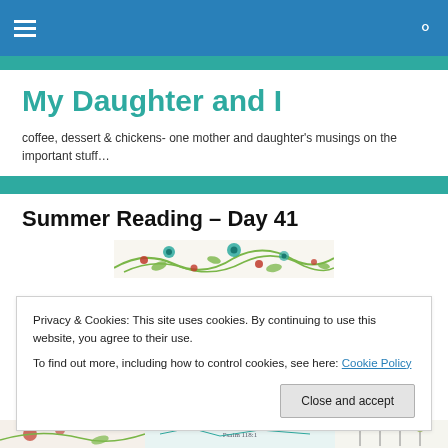My Daughter and I — navigation header bar
My Daughter and I
coffee, dessert & chickens- one mother and daughter's musings on the important stuff…
Summer Reading – Day 41
[Figure (illustration): Decorative floral banner image with green vines, blue and red flowers on white background]
Privacy & Cookies: This site uses cookies. By continuing to use this website, you agree to their use.
To find out more, including how to control cookies, see here: Cookie Policy
[Close and accept button]
[Figure (illustration): Partial bottom strip of a decorative image with floral elements, a Bible verse reference Psalm 118:1, and botanical illustrations]